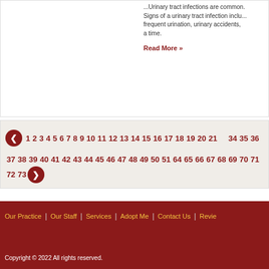Urinary tract infections are common... Signs of a urinary tract infection include frequent urination, urinary accidents, a time.
Read More »
◀ 1 2 3 4 5 6 7 8 9 10 11 12 13 14 15 16 17 18 19 20 21 34 35 36 37 38 39 40 41 42 43 44 45 46 47 48 49 50 51 64 65 66 67 68 69 70 71 72 73 ▶
Our Practice | Our Staff | Services | Adopt Me | Contact Us | Revie
[Figure (logo): Veterinary clinic logo with silhouette of dog and cat in red, orange and black square with blue border]
Copyright © 2022 All rights reserved.